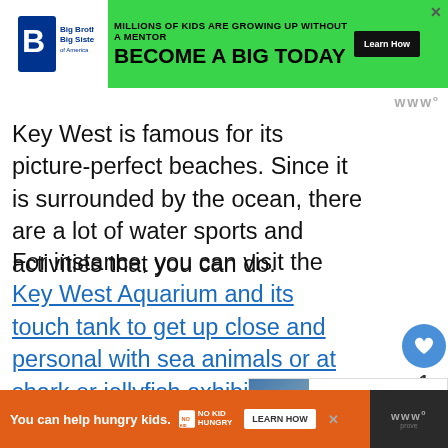[Figure (screenshot): Big Brothers Big Sisters advertisement banner: green background with logo, text 'MILLIONS OF KIDS ARE GROWING UP WITHOUT A MENTOR' and 'BECOME A BIG TODAY' with Learn How button]
Key West is famous for its picture-perfect beaches. Since it is surrounded by the ocean, there are a lot of water sports and activities that you can do.
For instance, you can visit the Key West Aquarium and its touch tank to get up close and personal with sea animals or at shark or jellyfish exhibit.
[Figure (screenshot): Bottom advertisement: orange background with 'You can help hungry kids.' and No Kid Hungry logo and LEARN HOW button]